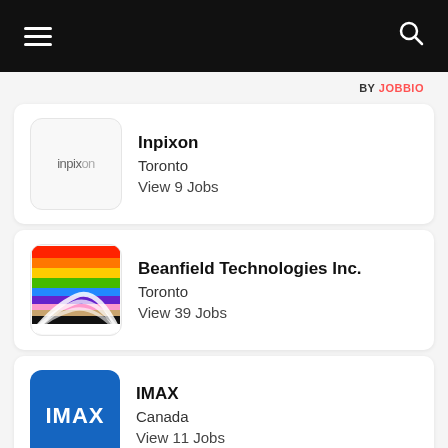BY JOBBIO
Inpixon
Toronto
View 9 Jobs
Beanfield Technologies Inc.
Toronto
View 39 Jobs
IMAX
Canada
View 11 Jobs